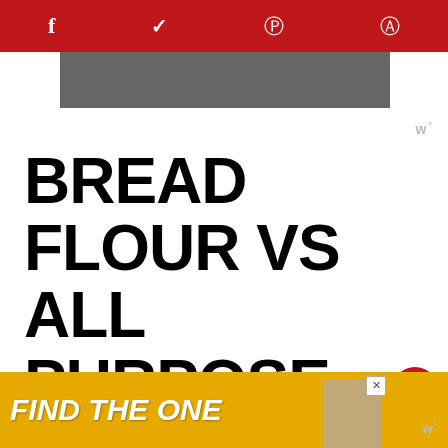f  ♦  p  ©
BREAD FLOUR VS ALL PURPOSE FLOUR
Bread flour has a higher protein than all-purpose, which helps with gluten de…
[Figure (screenshot): WHAT'S NEXT arrow label with Meatloaf without Milk thumbnail]
[Figure (screenshot): Advertisement banner: FIND THE ONE with dog image]